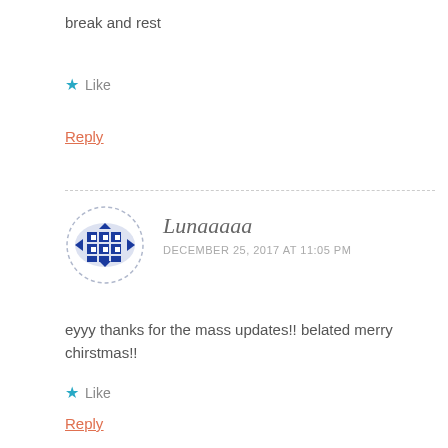break and rest
★ Like
Reply
Lunaaaaa
DECEMBER 25, 2017 AT 11:05 PM
eyyy thanks for the mass updates!! belated merry chirstmas!!
★ Like
Reply